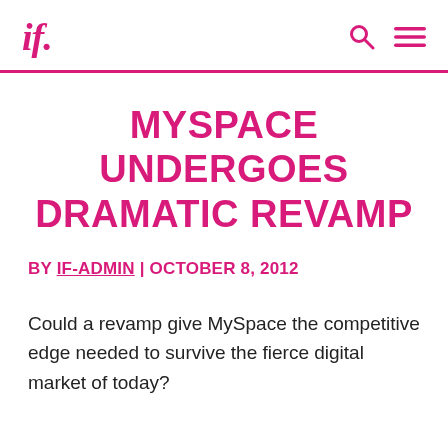if.
MYSPACE UNDERGOES DRAMATIC REVAMP
BY IF-ADMIN | OCTOBER 8, 2012
Could a revamp give MySpace the competitive edge needed to survive the fierce digital market of today?